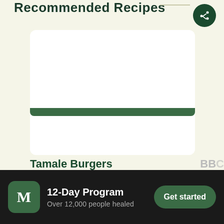Recommended Recipes
[Figure (screenshot): White card showing recipe image placeholder for Tamale Burgers]
Tamale Burgers
Sandwiches & Wraps
BBC
Sand
12-Day Program
Over 12,000 people healed
Get started